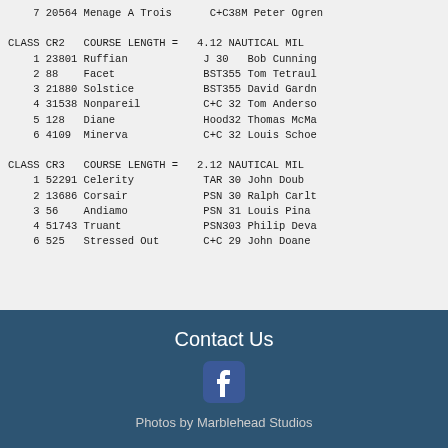| Place | Sail# | Boat Name | Class | Skipper |
| --- | --- | --- | --- | --- |
| 7 | 20564 | Menage A Trois | C+C38M | Peter Ogren |
| CLASS CR2 | COURSE LENGTH = | 4.12 NAUTICAL MIL |  |  |
| 1 | 23801 | Ruffian | J 30 | Bob Cunning |
| 2 | 88 | Facet | BST355 | Tom Tetraul |
| 3 | 21880 | Solstice | BST355 | David Gardn |
| 4 | 31538 | Nonpareil | C+C 32 | Tom Anderso |
| 5 | 128 | Diane | Hood32 | Thomas McMa |
| 6 | 4109 | Minerva | C+C 32 | Louis Schoe |
| CLASS CR3 | COURSE LENGTH = | 2.12 NAUTICAL MIL |  |  |
| 1 | 52291 | Celerity | TAR 30 | John Doub |
| 2 | 13686 | Corsair | PSN 30 | Ralph Carlt |
| 3 | 56 | Andiamo | PSN 31 | Louis Pina |
| 4 | 51743 | Truant | PSN303 | Philip Deva |
| 6 | 525 | Stressed Out | C+C 29 | John Doane |
Contact Us
[Figure (logo): Facebook icon in white on dark blue background]
Photos by Marblehead Studios